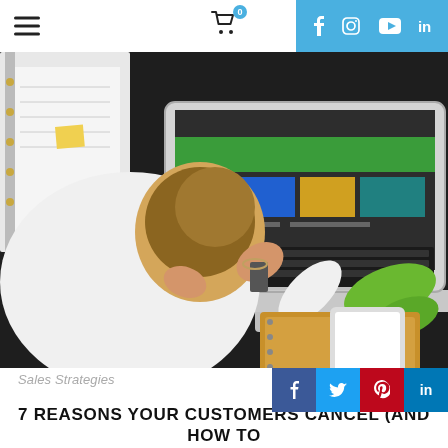Navigation bar with hamburger menu, cart icon (0), and social media icons (Facebook, Instagram, YouTube, LinkedIn)
[Figure (photo): Overhead view of a stressed woman holding her head in her hands at a dark desk with an open laptop showing a colorful website, a spiral notebook, a smartphone, and green sandals with glasses nearby]
Sales Strategies
7 REASONS YOUR CUSTOMERS CANCEL (AND HOW TO